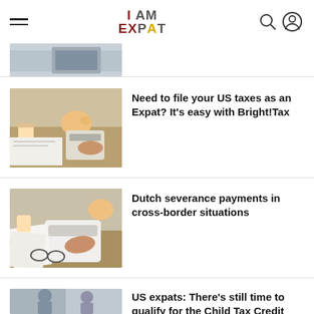I AM EXPAT — navigation header with hamburger menu, logo, search and user icons
[Figure (photo): Partial view of person working on laptop — top portion cropped]
Need to file your US taxes as an Expat? It's easy with Bright!Tax
[Figure (photo): Person using calculator with papers, piggy bank and coffee cup on desk]
Dutch severance payments in cross-border situations
[Figure (photo): Two people sitting at table talking, partial view]
US expats: There's still time to qualify for the Child Tax Credit